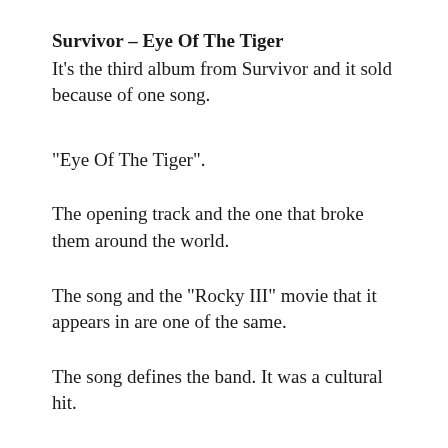Survivor – Eye Of The Tiger
It's the third album from Survivor and it sold because of one song.
“Eye Of The Tiger”.
The opening track and the one that broke them around the world.
The song and the “Rocky III” movie that it appears in are one of the same.
The song defines the band. It was a cultural hit.